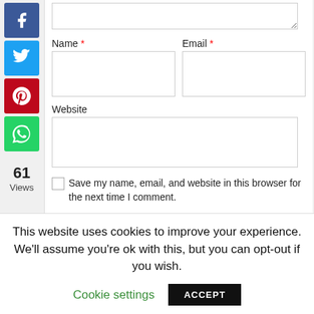[Figure (other): Social media share buttons: Facebook (blue), Twitter (blue), Pinterest (red), WhatsApp (green), and a yellow message/comment button. Below the social icons: 61 Views.]
61
Views
Name *
Email *
Website
Save my name, email, and website in this browser for the next time I comment.
Attachment
Choose File  No file chosen
The maximum upload file size: 80 MB.
You can upload: image, audio, video, document.
This website uses cookies to improve your experience. We'll assume you're ok with this, but you can opt-out if you wish.
Cookie settings
ACCEPT